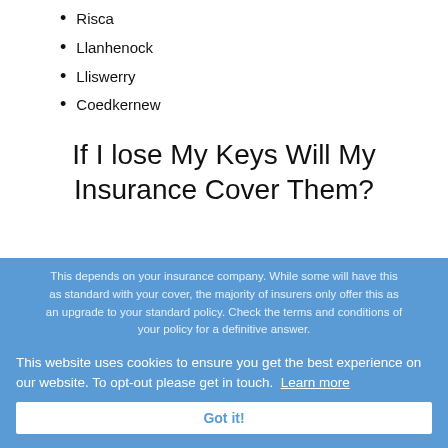Risca
Llanhenock
Lliswerry
Coedkernew
If I lose My Keys Will My Insurance Cover Them?
This depends on your insurance company. While some will have this as standard with your cover, the majority of insurers only offer this as an upgrade to your standard policy. Check the terms and conditions of your policy for a definitive answer.
This website uses cookies to ensure you get the best experience on our website. To opt-out please get in touch. Learn more
Got it!